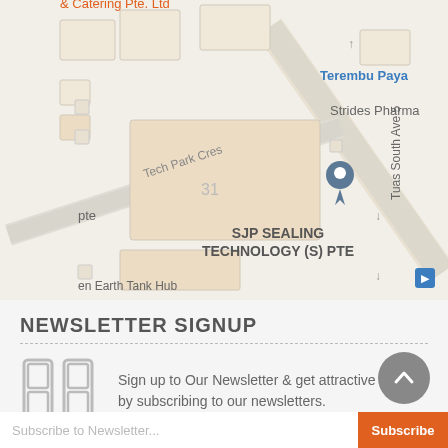[Figure (map): Google Maps screenshot showing area around SJP Sealing Technology (S) Pte near Tuas South Ave 5, with labels for Tech Park Cres, Terembu Paya, Strides Pharma, Glimex Marketing Pte, and en Earth Tank Hub]
NEWSLETTER SIGNUP
Sign up to Our Newsletter & get attractive Offers by subscribing to our newsletters.